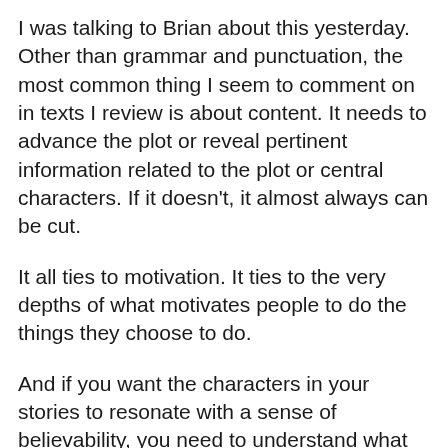I was talking to Brian about this yesterday.  Other than grammar and punctuation, the most common thing I seem to comment on in texts I review is about content.  It needs to advance the plot or reveal pertinent information related to the plot or central characters.  If it doesn't, it almost always can be cut.
It all ties to motivation.  It ties to the very depths of what motivates people to do the things they choose to do.
And if you want the characters in your stories to resonate with a sense of believability, you need to understand what drives them.
Or at the very least, be on the journey of discovery, trying to peel off the layers to get to the core of what makes them tick.